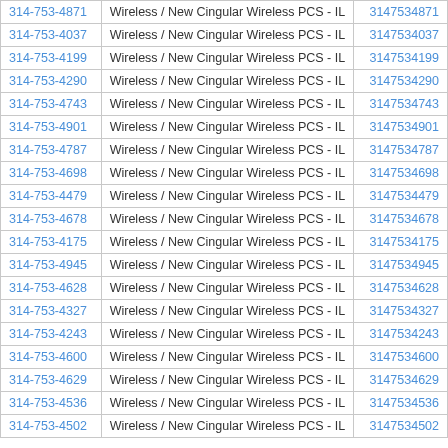| 314-753-4871 | Wireless / New Cingular Wireless PCS - IL | 3147534871 |
| 314-753-4037 | Wireless / New Cingular Wireless PCS - IL | 3147534037 |
| 314-753-4199 | Wireless / New Cingular Wireless PCS - IL | 3147534199 |
| 314-753-4290 | Wireless / New Cingular Wireless PCS - IL | 3147534290 |
| 314-753-4743 | Wireless / New Cingular Wireless PCS - IL | 3147534743 |
| 314-753-4901 | Wireless / New Cingular Wireless PCS - IL | 3147534901 |
| 314-753-4787 | Wireless / New Cingular Wireless PCS - IL | 3147534787 |
| 314-753-4698 | Wireless / New Cingular Wireless PCS - IL | 3147534698 |
| 314-753-4479 | Wireless / New Cingular Wireless PCS - IL | 3147534479 |
| 314-753-4678 | Wireless / New Cingular Wireless PCS - IL | 3147534678 |
| 314-753-4175 | Wireless / New Cingular Wireless PCS - IL | 3147534175 |
| 314-753-4945 | Wireless / New Cingular Wireless PCS - IL | 3147534945 |
| 314-753-4628 | Wireless / New Cingular Wireless PCS - IL | 3147534628 |
| 314-753-4327 | Wireless / New Cingular Wireless PCS - IL | 3147534327 |
| 314-753-4243 | Wireless / New Cingular Wireless PCS - IL | 3147534243 |
| 314-753-4600 | Wireless / New Cingular Wireless PCS - IL | 3147534600 |
| 314-753-4629 | Wireless / New Cingular Wireless PCS - IL | 3147534629 |
| 314-753-4536 | Wireless / New Cingular Wireless PCS - IL | 3147534536 |
| 314-753-4502 | Wireless / New Cingular Wireless PCS - IL | 3147534502 |